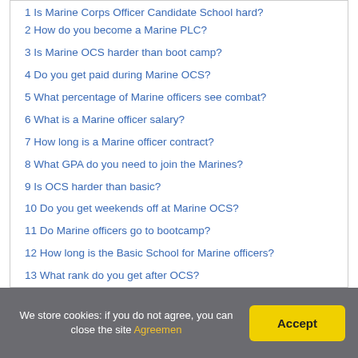1 Is Marine Corps Officer Candidate School hard?
2 How do you become a Marine PLC?
3 Is Marine OCS harder than boot camp?
4 Do you get paid during Marine OCS?
5 What percentage of Marine officers see combat?
6 What is a Marine officer salary?
7 How long is a Marine officer contract?
8 What GPA do you need to join the Marines?
9 Is OCS harder than basic?
10 Do you get weekends off at Marine OCS?
11 Do Marine officers go to bootcamp?
12 How long is the Basic School for Marine officers?
13 What rank do you get after OCS?
14 Do you get Bah while at OCS?
We store cookies: if you do not agree, you can close the site Agreemen